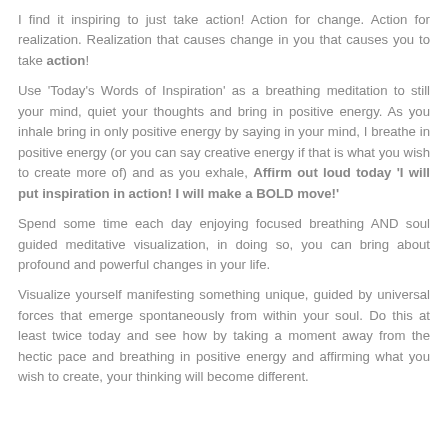I find it inspiring to just take action! Action for change. Action for realization. Realization that causes change in you that causes you to take action!
Use 'Today's Words of Inspiration' as a breathing meditation to still your mind, quiet your thoughts and bring in positive energy. As you inhale bring in only positive energy by saying in your mind, I breathe in positive energy (or you can say creative energy if that is what you wish to create more of) and as you exhale, Affirm out loud today 'I will put inspiration in action! I will make a BOLD move!'
Spend some time each day enjoying focused breathing AND soul guided meditative visualization, in doing so, you can bring about profound and powerful changes in your life.
Visualize yourself manifesting something unique, guided by universal forces that emerge spontaneously from within your soul. Do this at least twice today and see how by taking a moment away from the hectic pace and breathing in positive energy and affirming what you wish to create, your thinking will become different.